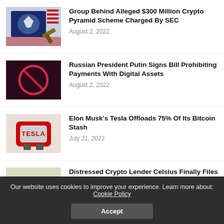[Figure (photo): SEC eagle logo on screen with gavel]
Group Behind Alleged $300 Million Crypto Pyramid Scheme Charged By SEC
August 2, 2022
[Figure (photo): Red neon no-entry sign on dark background]
Russian President Putin Signs Bill Prohibiting Payments With Digital Assets
August 2, 2022
[Figure (photo): Tesla charging station sign]
Elon Musk's Tesla Offloads 75% Of Its Bitcoin Stash
July 21, 2022
[Figure (photo): Bankruptcy road sign with yellow arrow]
Distressed Crypto Lender Celsius Finally Files For Bankruptcy, The Last Gasp Of Its Tragic Fall
Our website uses cookies to improve your experience. Learn more about: Cookie Policy
Accept